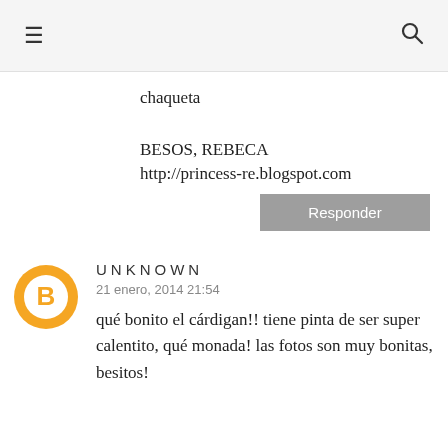≡  🔍
chaqueta
BESOS, REBECA
http://princess-re.blogspot.com
Responder
UNKNOWN
21 enero, 2014 21:54
qué bonito el cárdigan!! tiene pinta de ser super calentito, qué monada! las fotos son muy bonitas, besitos!